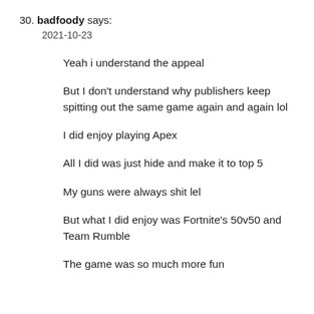30. badfoody says:
2021-10-23
Yeah i understand the appeal
But I don't understand why publishers keep spitting out the same game again and again lol
I did enjoy playing Apex
All I did was just hide and make it to top 5
My guns were always shit lel
But what I did enjoy was Fortnite's 50v50 and Team Rumble
The game was so much more fun